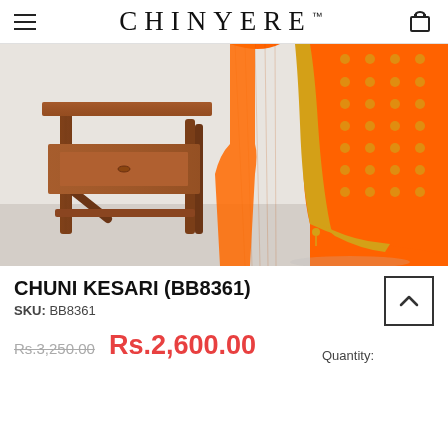≡  CHINYERE™  🛍
[Figure (photo): Orange Banarasi-style chuni/dupatta with gold zari weave border and polka dot pattern, draped near a mid-century modern wooden side table on a light grey background.]
CHUNI KESARI (BB8361)
SKU: BB8361
Rs.3,250.00  Rs.2,600.00
Quantity: